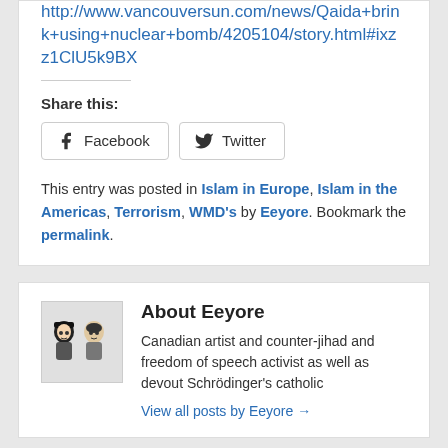Read more: http://www.vancouversun.com/news/Qaida+brink+using+nuclear+bomb/4205104/story.html#ixzz1ClU5k9BX
Share this:
Facebook  Twitter
This entry was posted in Islam in Europe, Islam in the Americas, Terrorism, WMD's by Eeyore. Bookmark the permalink.
About Eeyore
Canadian artist and counter-jihad and freedom of speech activist as well as devout Schrödinger's catholic
View all posts by Eeyore →